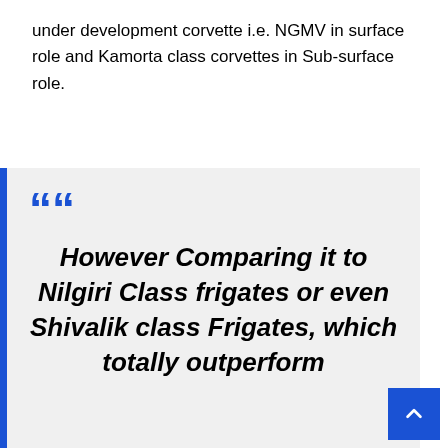under development corvette i.e. NGMV in surface role and Kamorta class corvettes in Sub-surface role.
However Comparing it to Nilgiri Class frigates or even Shivalik class Frigates, which totally outperform